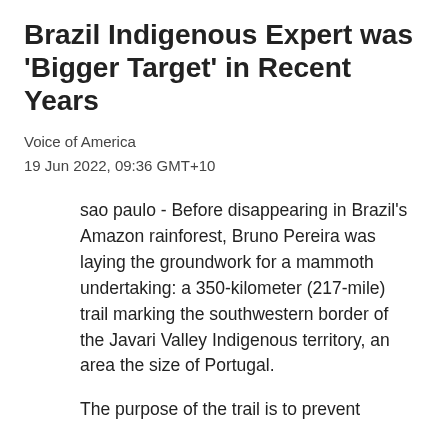Brazil Indigenous Expert was 'Bigger Target' in Recent Years
Voice of America
19 Jun 2022, 09:36 GMT+10
sao paulo - Before disappearing in Brazil's Amazon rainforest, Bruno Pereira was laying the groundwork for a mammoth undertaking: a 350-kilometer (217-mile) trail marking the southwestern border of the Javari Valley Indigenous territory, an area the size of Portugal.
The purpose of the trail is to prevent